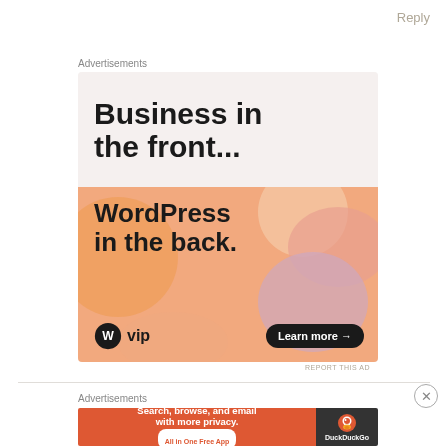Reply
Advertisements
[Figure (illustration): WordPress VIP advertisement banner. Top half: light beige background with bold black text 'Business in the front...'. Bottom half: orange gradient background with colorful blobs (peach, pink, lavender), bold black text 'WordPress in the back.', WordPress W logo with 'vip' text, and a dark pill button 'Learn more →'.]
REPORT THIS AD
Advertisements
[Figure (illustration): DuckDuckGo advertisement banner. Left side: orange-red background with white bold text 'Search, browse, and email with more privacy.' and white pill 'All in One Free App'. Right side: dark background with DuckDuckGo duck logo and 'DuckDuckGo' text.]